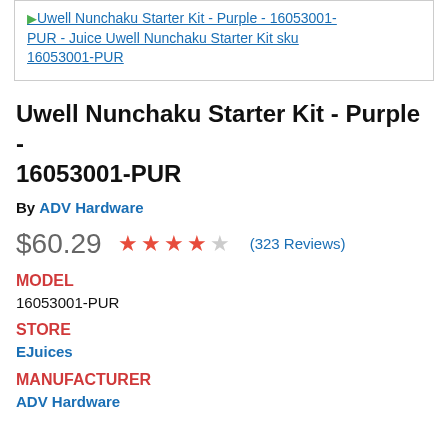Uwell Nunchaku Starter Kit - Purple - 16053001-PUR - Juice Uwell Nunchaku Starter Kit sku 16053001-PUR
Uwell Nunchaku Starter Kit - Purple - 16053001-PUR
By ADV Hardware
$60.29  ★★★★☆ (323 Reviews)
MODEL
16053001-PUR
STORE
EJuices
MANUFACTURER
ADV Hardware